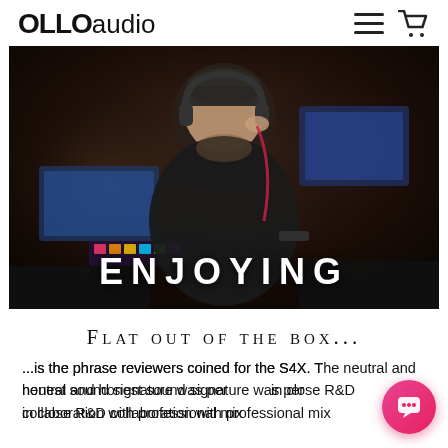OLLOaudio
[Figure (photo): A music producer wearing headphones in a dark recording studio, with monitors and equipment visible. Large white text 'ENJOYING' overlaid at the bottom.]
Flat out of the box...
...is the phrase reviewers coined for the S4X. The neutral and honest sound signature was perfected in close R&D collaboration with professional mixing